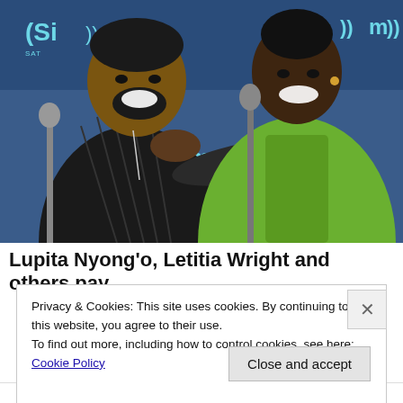[Figure (photo): Photo of two people at a SiriusXM satellite radio event. A man on the left wearing a black outfit with a patterned jacket and chain necklace, and a woman on the right wearing a green dress, both smiling at each other in front of SiriusXM branded backdrop with microphones.]
Lupita Nyong'o, Letitia Wright and others pay
Privacy & Cookies: This site uses cookies. By continuing to use this website, you agree to their use.
To find out more, including how to control cookies, see here: Cookie Policy
Close and accept